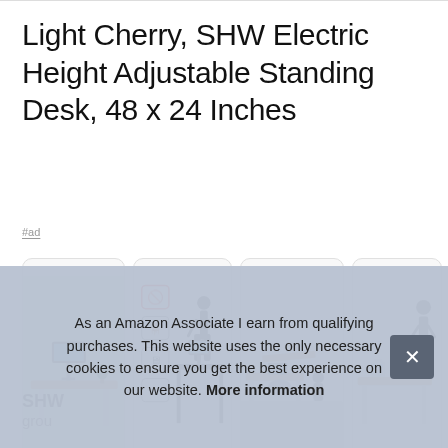Light Cherry, SHW Electric Height Adjustable Standing Desk, 48 x 24 Inches
#ad
[Figure (photo): Four product photos of a standing desk in light cherry finish: (1) desk with monitor and plant on green background, (2) infographic showing ergonomic height icons and a person standing at desk, (3) two desks in office setting with person working, (4) desk with small robot toy and person standing.]
SHW
grou
As an Amazon Associate I earn from qualifying purchases. This website uses the only necessary cookies to ensure you get the best experience on our website. More information